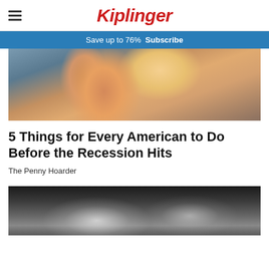Kiplinger
Save up to 76%  Subscribe
[Figure (photo): Close-up photo of a woman examining a bottle label, with an orange and blue bottle in focus]
5 Things for Every American to Do Before the Recession Hits
The Penny Hoarder
[Figure (photo): Black and white photo showing bags of coins and stacks of cash bills on a surface]